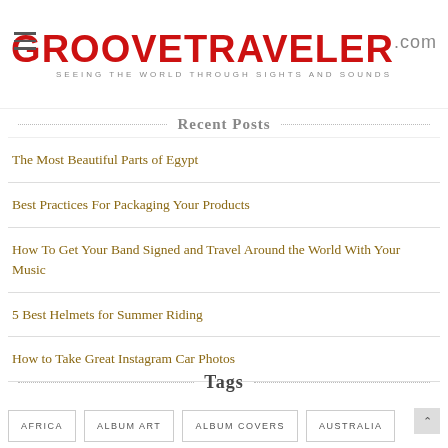GROOVETRAVELER.com — SEEING THE WORLD THROUGH SIGHTS AND SOUNDS
Recent Posts
The Most Beautiful Parts of Egypt
Best Practices For Packaging Your Products
How To Get Your Band Signed and Travel Around the World With Your Music
5 Best Helmets for Summer Riding
How to Take Great Instagram Car Photos
Tags
AFRICA
ALBUM ART
ALBUM COVERS
AUSTRALIA